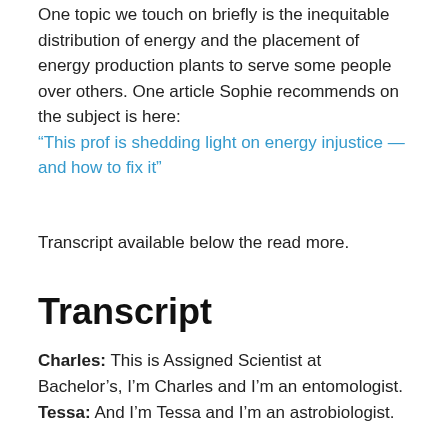One topic we touch on briefly is the inequitable distribution of energy and the placement of energy production plants to serve some people over others. One article Sophie recommends on the subject is here: “This prof is shedding light on energy injustice — and how to fix it”
Transcript available below the read more.
Transcript
Charles: This is Assigned Scientist at Bachelor’s, I’m Charles and I’m an entomologist.
Tessa: And I’m Tessa and I’m an astrobiologist.
Charles: And today we have another guest, Sophie Lee. Hi Sophie.